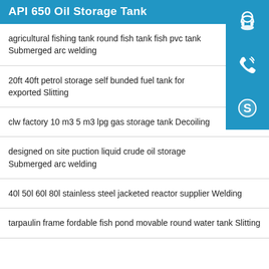API 650 Oil Storage Tank
agricultural fishing tank round fish tank fish pvc tank Submerged arc welding
20ft 40ft petrol storage self bunded fuel tank for exported Slitting
clw factory 10 m3 5 m3 lpg gas storage tank Decoiling
designed on site puction liquid crude oil storage Submerged arc welding
40l 50l 60l 80l stainless steel jacketed reactor supplier Welding
tarpaulin frame fordable fish pond movable round water tank Slitting